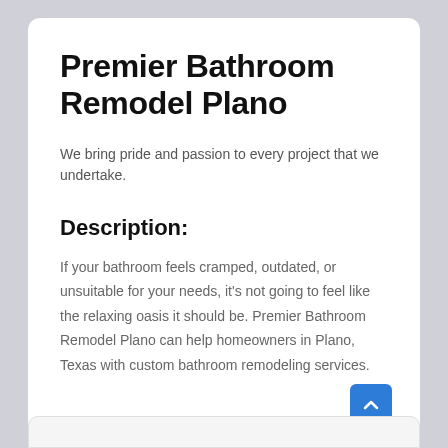Premier Bathroom Remodel Plano
We bring pride and passion to every project that we undertake.
Description:
If your bathroom feels cramped, outdated, or unsuitable for your needs, it's not going to feel like the relaxing oasis it should be. Premier Bathroom Remodel Plano can help homeowners in Plano, Texas with custom bathroom remodeling services.